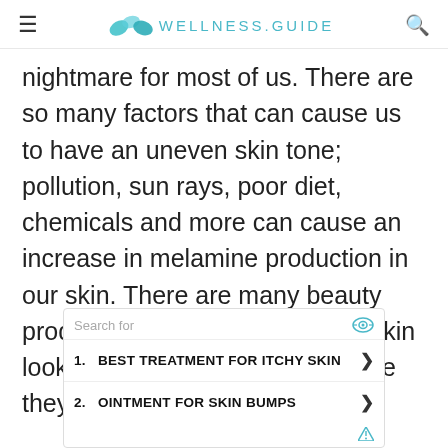WELLNESS.GUIDE
nightmare for most of us. There are so many factors that can cause us to have an uneven skin tone; pollution, sun rays, poor diet, chemicals and more can cause an increase in melamine production in our skin. There are many beauty products that claim to keep our skin looking flawless, but how safe are they?
1. BEST TREATMENT FOR ITCHY SKIN
2. OINTMENT FOR SKIN BUMPS